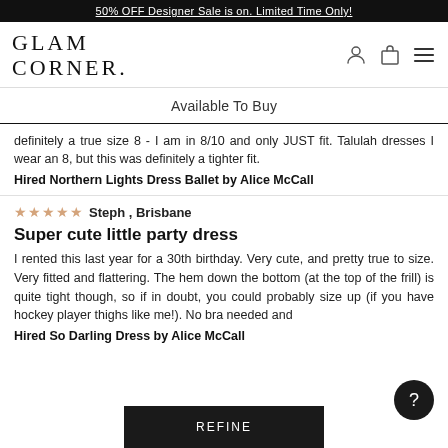50% OFF Designer Sale is on. Limited Time Only!
GLAM
CORNER.
Available To Buy
definitely a true size 8 - I am in 8/10 and only JUST fit. Talulah dresses I wear an 8, but this was definitely a tighter fit.
Hired Northern Lights Dress Ballet by Alice McCall
★★★★★ Steph , Brisbane
Super cute little party dress
I rented this last year for a 30th birthday. Very cute, and pretty true to size. Very fitted and flattering. The hem down the bottom (at the top of the frill) is quite tight though, so if in doubt, you could probably size up (if you have hockey player thighs like me!). No bra needed and
Hired So Darling Dress by Alice McCall
REFINE